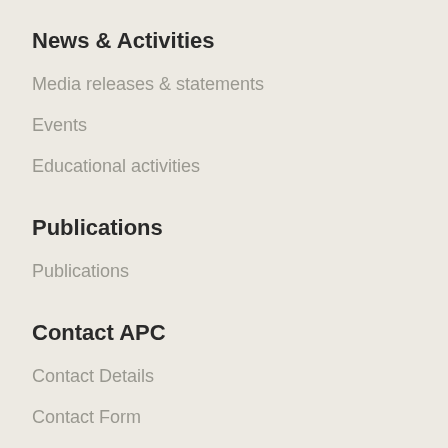News & Activities
Media releases & statements
Events
Educational activities
Publications
Publications
Contact APC
Contact Details
Contact Form
APC Updates